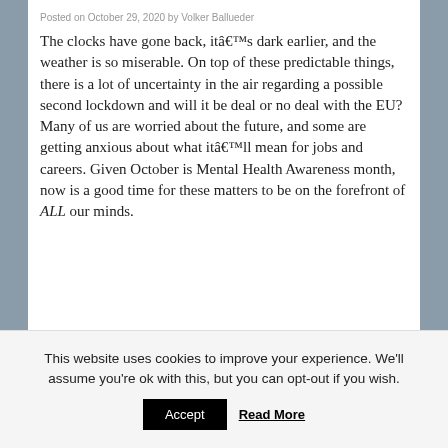Posted on October 29, 2020 by Volker Ballueder
The clocks have gone back, itâ€™s dark earlier, and the weather is so miserable. On top of these predictable things, there is a lot of uncertainty in the air regarding a possible second lockdown and will it be deal or no deal with the EU? Many of us are worried about the future, and some are getting anxious about what itâ€™ll mean for jobs and careers. Given October is Mental Health Awareness month, now is a good time for these matters to be on the forefront of ALL our minds.
This website uses cookies to improve your experience. We'll assume you're ok with this, but you can opt-out if you wish.